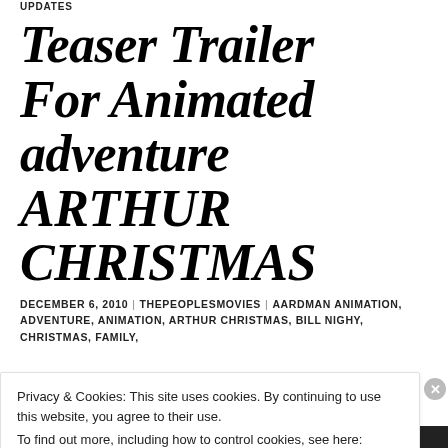UPDATES
Teaser Trailer For Animated adventure ARTHUR CHRISTMAS
DECEMBER 6, 2010 | THEPEOPLESMOVIES | AARDMAN ANIMATION, ADVENTURE, ANIMATION, ARTHUR CHRISTMAS, BILL NIGHY, CHRISTMAS, FAMILY,
Privacy & Cookies: This site uses cookies. By continuing to use this website, you agree to their use.
To find out more, including how to control cookies, see here: Cookie Policy